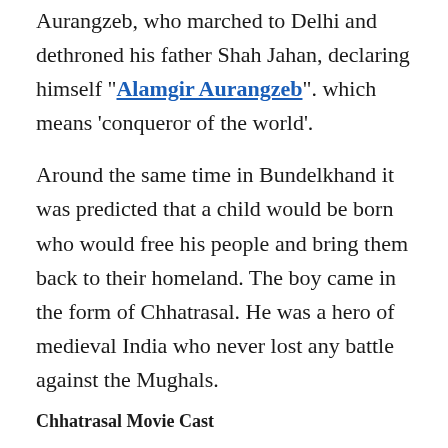Aurangzeb, who marched to Delhi and dethroned his father Shah Jahan, declaring himself “Alamgir Aurangzeb”. which means ‘conqueror of the world’.
Around the same time in Bundelkhand it was predicted that a child would be born who would free his people and bring them back to their homeland. The boy came in the form of Chhatrasal. He was a hero of medieval India who never lost any battle against the Mughals.
Chhatrasal Movie Cast
Neena Gupta